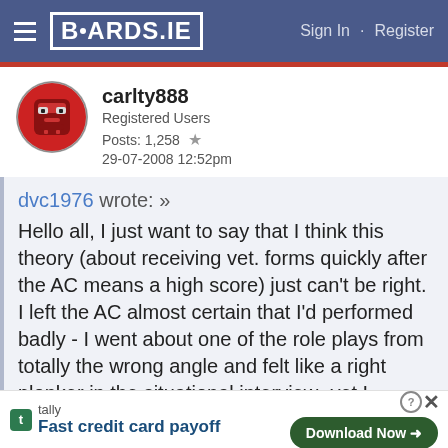BOARDS.IE   Sign In · Register
carlty888
Registered Users
Posts: 1,258 ★
29-07-2008 12:52pm
dvc1976 wrote: »
Hello all, I just want to say that I think this theory (about receiving vet. forms quickly after the AC means a high score) just can't be right. I left the AC almost certain that I'd performed badly - I went about one of the role plays from totally the wrong angle and felt like a right plonker in the situational interview -yet I recieved my vet. forms within two weeks and recieved my pass letter today. Also, in
tally Fast credit card payoff   Download Now →   ⓘ ✕   ✕